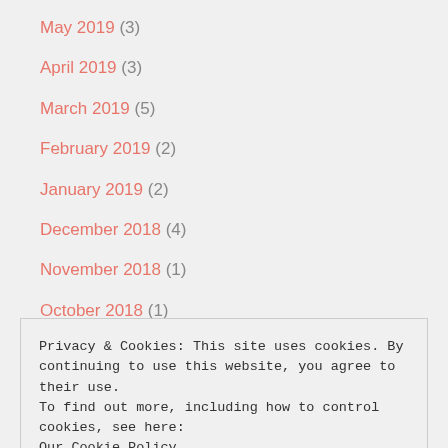May 2019 (3)
April 2019 (3)
March 2019 (5)
February 2019 (2)
January 2019 (2)
December 2018 (4)
November 2018 (1)
October 2018 (1)
Privacy & Cookies: This site uses cookies. By continuing to use this website, you agree to their use.
To find out more, including how to control cookies, see here:
Our Cookie Policy
Close and accept